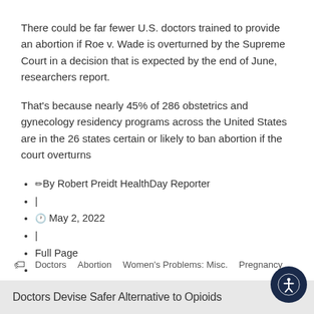There could be far fewer U.S. doctors trained to provide an abortion if Roe v. Wade is overturned by the Supreme Court in a decision that is expected by the end of June, researchers report.
That's because nearly 45% of 286 obstetrics and gynecology residency programs across the United States are in the 26 states certain or likely to ban abortion if the court overturns
✏ By Robert Preidt HealthDay Reporter
|
🕐 May 2, 2022
|
Full Page
🏷 Doctors   Abortion   Women's Problems: Misc.   Pregnancy
Doctors Devise Safer Alternative to Opioids